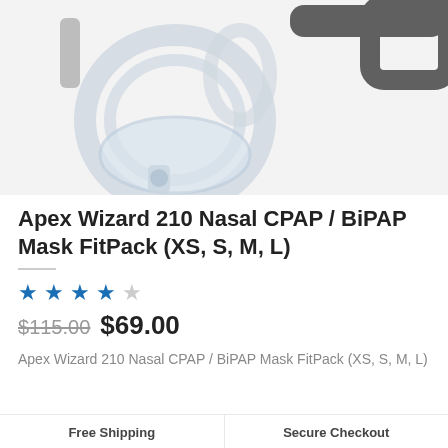[Figure (photo): Apex Wizard 210 Nasal CPAP / BiPAP mask product photo showing clear silicone mask frame with gray headgear straps on white/light gray background]
Apex Wizard 210 Nasal CPAP / BiPAP Mask FitPack (XS, S, M, L)
★★★★☆ (4 out of 5 stars)
$115.00 $69.00
Apex Wizard 210 Nasal CPAP / BiPAP Mask FitPack (XS, S, M, L)
Free Shipping    Secure Checkout